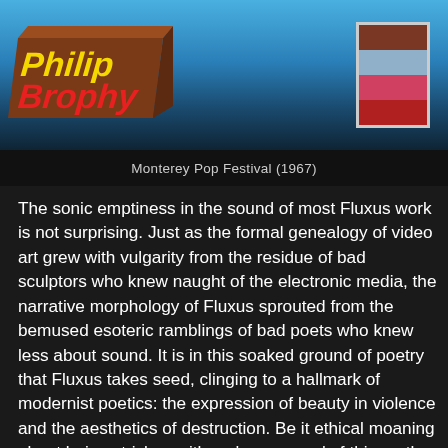[Figure (logo): Philip Brophy logo in bold yellow and red text on a brown 3D block shape]
[Figure (other): Color swatch with four horizontal bands: brown, light blue/grey, pink/red, dark red]
Monterey Pop Festival (1967)
The sonic emptiness in the sound of most Fluxus work is not surprising. Just as the formal genealogy of video art grew with vulgarity from the residue of bad sculptors who knew naught of the electronic media, the narrative morphology of Fluxus sprouted from the bemused esoteric ramblings of bad poets who knew less about sound. It is in this soaked ground of poetry that Fluxus takes seed, clinging to a hallmark of modernist poetics: the expression of beauty in violence and the aesthetics of destruction. Be it ethical moaning about being stricken with an 'awareness' of this, or the self-centred wallowing on the ejaculatory throb inherent in 'critiquing power', modernist poetics love crises and catastrophes as much as the romantics jerked off to sunsets and sunflowers. Superficially, Fluxus appears to move past this. It doesn't. Fluxus is comprised of the